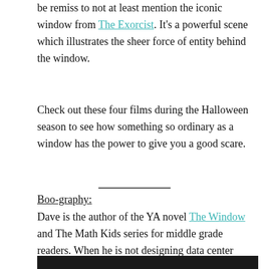be remiss to not at least mention the iconic window from The Exorcist. It's a powerful scene which illustrates the sheer force of entity behind the window.
Check out these four films during the Halloween season to see how something so ordinary as a window has the power to give you a good scare.
Boo-graphy: Dave is the author of the YA novel The Window and The Math Kids series for middle grade readers. When he is not designing data center management software, he is usually reading, writing, or coaching elementary school math teams. He loves writing and his wife loves that he has found a hobby that doesn't cost anything!
[Figure (photo): Partial view of a photo, dark/black tones, partially cut off at bottom of page]